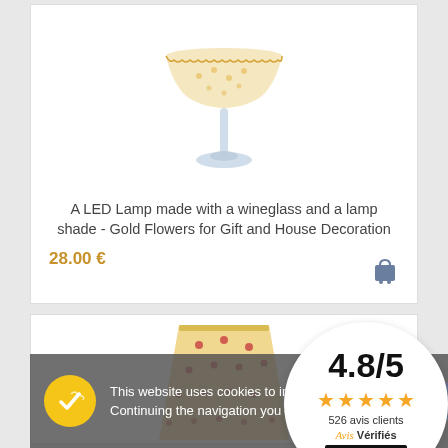[Figure (photo): A LED lamp made from a wineglass with a floral gold lamp shade on white background]
A LED Lamp made with a wineglass and a lamp shade - Gold Flowers for Gift and House Decoration
28.00 €
[Figure (photo): A floral patterned lampshade (red flowers on yellow/cream background) partially visible]
This website uses cookies to improve 
Continuing the navigation you allow the
OK
4.8/5
526 avis clients
Avis Vérifiés
AVIS CLIENTS